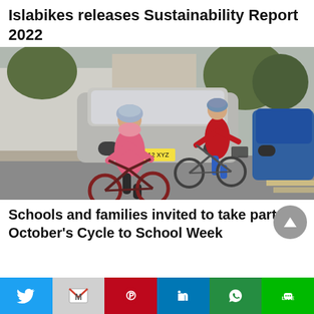Islabikes releases Sustainability Report 2022
[Figure (photo): A child and adult riding bicycles on a road, both wearing helmets and red/pink jackets, with parked cars in the background.]
Schools and families invited to take part in October's Cycle to School Week
Social share bar: Twitter, Gmail, Pinterest, LinkedIn, WhatsApp, Line